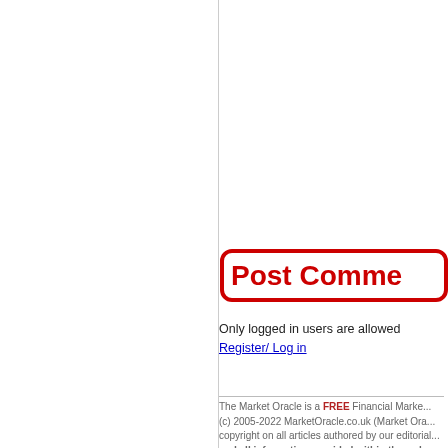[Figure (other): Post Comment button graphic — red rounded rectangle outline with red bold text 'Post Comme...' (partially cropped)]
Only logged in users are allowed Register/ Log in
The Market Oracle is a FREE Financial Marke... (c) 2005-2022 MarketOracle.co.uk (Market Ora... copyright on all articles authored by our editorial... and all information provided within the web-s... purposes only and Market Oracle Ltd do not w... suitability of any information provided on thi...